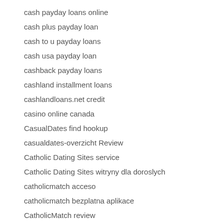cash payday loans online
cash plus payday loan
cash to u payday loans
cash usa payday loan
cashback payday loans
cashland installment loans
cashlandloans.net credit
casino online canada
CasualDates find hookup
casualdates-overzicht Review
Catholic Dating Sites service
Catholic Dating Sites witryny dla doroslych
catholicmatch acceso
catholicmatch bezplatna aplikace
CatholicMatch review